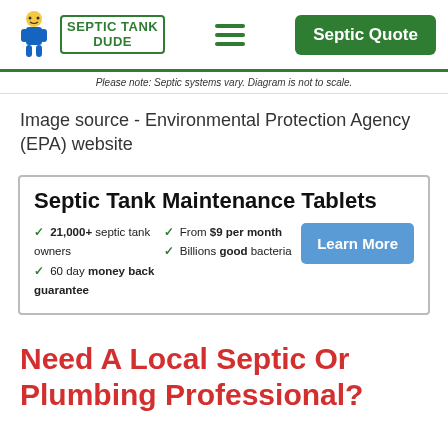[Figure (logo): Septic Tank Dude logo with cartoon character and green text logo, hamburger menu icon, and green Septic Quote button]
Please note: Septic systems vary. Diagram is not to scale.
Image source - Environmental Protection Agency (EPA) website
[Figure (infographic): Advertisement box for Septic Tank Maintenance Tablets. Features: 21,000+ septic tank owners, 60 day money back guarantee, From $9 per month, Billions good bacteria. Learn More button.]
Need A Local Septic Or Plumbing Professional?